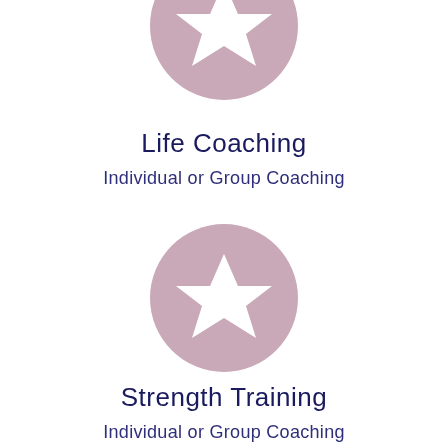[Figure (illustration): Pink circle with white star icon, partially cropped at top]
Life Coaching
Individual or Group Coaching
[Figure (illustration): Pink circle with white star icon, full circle]
Strength Training
Individual or Group Coaching
[Figure (illustration): Pink circle with white star icon, partially cropped at bottom]